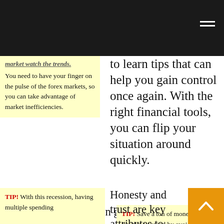You need to have your finger on the pulse of the forex markets, so you can take advantage of market inefficiencies.
to learn tips that can help you gain control once again. With the right financial tools, you can flip your situation around quickly.
Stop wasting money on get rich quick schemes that promise you a fortune. Lots of Internet marketers get caught in this trap. Take the time and money to improve your knowledge, but spend even more of your time working to improve your business.
TIP! Save a ton of money while traveling abroad by avoiding the touristy areas and opt for local restaurants and cafes. Ask where locals go when they want a bite to eat; in tourist areas and hotels, restaurants tend to be overpriced.
TIP! With this recession, having multiple spending
Honesty and trust are key attributes to look for when you are shopping